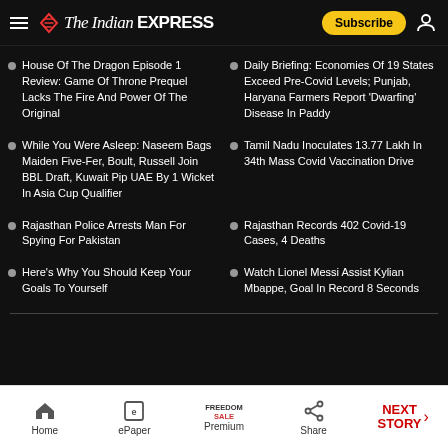The Indian EXPRESS
House Of The Dragon Episode 1 Review: Game Of Throne Prequel Lacks The Fire And Power Of The Original
Daily Briefing: Economies Of 19 States Exceed Pre-Covid Levels; Punjab, Haryana Farmers Report 'Dwarfing' Disease In Paddy
While You Were Asleep: Naseem Bags Maiden Five-Fer, Boult, Russell Join BBL Draft, Kuwait Pip UAE By 1 Wicket In Asia Cup Qualifier
Tamil Nadu Inoculates 13.77 Lakh In 34th Mass Covid Vaccination Drive
Rajasthan Police Arrests Man For Spying For Pakistan
Rajasthan Records 402 Covid-19 Cases, 4 Deaths
Here's Why You Should Keep Your Goals To Yourself
Watch Lionel Messi Assist Kylian Mbappe, Goal In Record 8 Seconds
Home | ePaper | Premium | Share | NEXT STORY